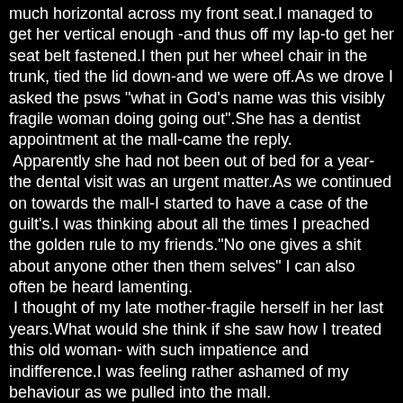much horizontal across my front seat.I managed to get her vertical enough -and thus off my lap-to get her seat belt fastened.I then put her wheel chair in the trunk, tied the lid down-and we were off.As we drove I asked the psws "what in God's name was this visibly fragile woman doing going out".She has a dentist appointment at the mall-came the reply.
 Apparently she had not been out of bed for a year-the dental visit was an urgent matter.As we continued on towards the mall-I started to have a case of the guilt's.I was thinking about all the times I preached the golden rule to my friends."No one gives a shit about anyone other then them selves" I can also often be heard lamenting.
 I thought of my late mother-fragile herself in her last years.What would she think if she saw how I treated this old woman- with such impatience and indifference.I was feeling rather ashamed of my behaviour as we pulled into the mall.
 Wanting to rectify this-I told the psw's to leave the lady-and that I would get her out, and into her chair.
I took on a completely different attitude as I opened her door."Listen darl'in" I told her, "I am a big strong guy and I want you to just put your arms around my neck-like you were